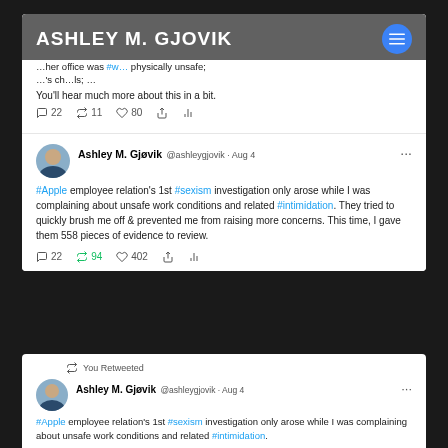ASHLEY M. GJOVIK
[Figure (screenshot): Screenshot of a Twitter/X page for Ashley M. Gjøvik (@ashleygjovik). Shows two tweets dated Aug 4. First tweet (partially visible): mentions office being physically unsafe and chemicals. Text reads 'You'll hear much more about this in a bit.' with engagement counts: 22 replies, 11 retweets, 80 likes. Second tweet: '#Apple employee relation's 1st #sexism investigation only arose while I was complaining about unsafe work conditions and related #intimidation. They tried to quickly brush me off & prevented me from raising more concerns. This time, I gave them 558 pieces of evidence to review.' Engagement: 22 replies, 94 retweets (green), 402 likes.]
[Figure (screenshot): Bottom portion showing 'You Retweeted' label with retweet icon, followed by Ashley M. Gjøvik @ashleygjovik · Aug 4 tweet beginning: '#Apple employee relation's 1st #sexism investigation only arose while I was complaining about unsafe work conditions and related #intimidation.']